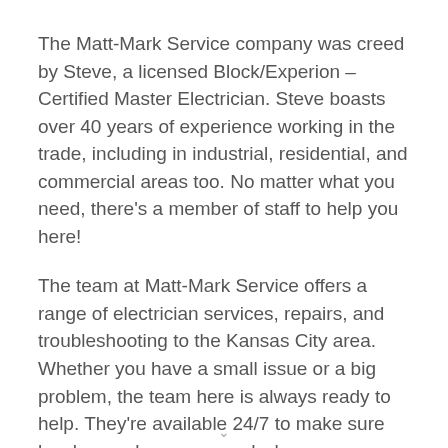The Matt-Mark Service company was creed by Steve, a licensed Block/Experion – Certified Master Electrician. Steve boasts over 40 years of experience working in the trade, including in industrial, residential, and commercial areas too. No matter what you need, there's a member of staff to help you here!
The team at Matt-Mark Service offers a range of electrician services, repairs, and troubleshooting to the Kansas City area. Whether you have a small issue or a big problem, the team here is always ready to help. They're available 24/7 to make sure locals are always covered when an electrical emergency occurs too.